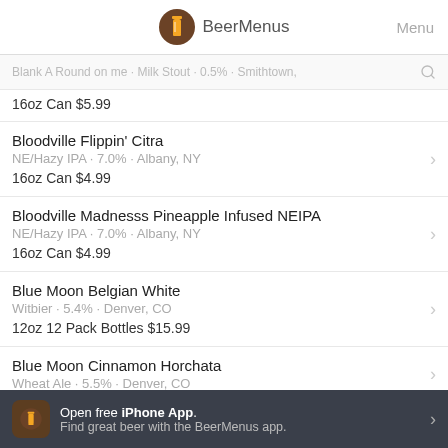BeerMenus  Menu
Blank A Round on me · Milk Stout · 0.5% · Smithtown, NY
16oz Can $5.99
Bloodville Flippin' Citra
NE/Hazy IPA · 7.0% · Albany, NY
16oz Can $4.99
Bloodville Madnesss Pineapple Infused NEIPA
NE/Hazy IPA · 7.0% · Albany, NY
16oz Can $4.99
Blue Moon Belgian White
Witbier · 5.4% · Denver, CO
12oz 12 Pack Bottles $15.99
Blue Moon Cinnamon Horchata
Wheat Ale · 5.5% · Denver, CO
Open free iPhone App. Find great beer with the BeerMenus app.